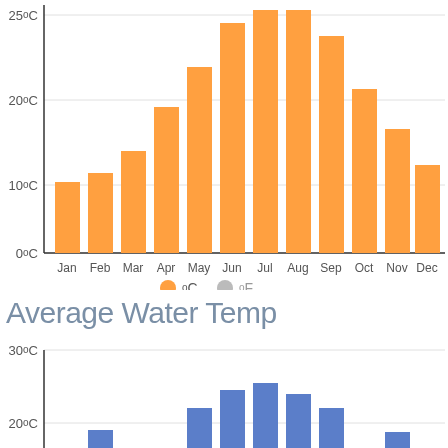[Figure (bar-chart): Average Air Temperature (°C)]
Average Water Temp
[Figure (bar-chart): Average Water Temp]